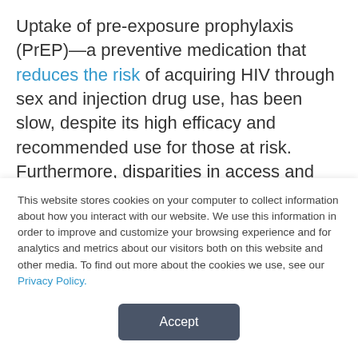Uptake of pre-exposure prophylaxis (PrEP)—a preventive medication that reduces the risk of acquiring HIV through sex and injection drug use, has been slow, despite its high efficacy and recommended use for those at risk. Furthermore, disparities in access and use exist along racial, ethnic, and gender lines. The Centers for Disease Control and Prevention (CDC) estimates that in 2020 about 300,800 people were prescribed PrEP, representing only
This website stores cookies on your computer to collect information about how you interact with our website. We use this information in order to improve and customize your browsing experience and for analytics and metrics about our visitors both on this website and other media. To find out more about the cookies we use, see our Privacy Policy.